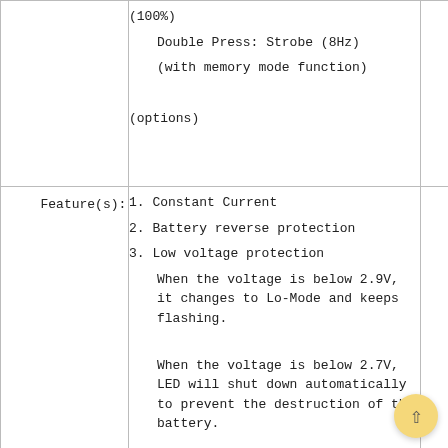|  |  |
| --- | --- |
|  | (100%)
Double Press: Strobe (8Hz)
(with memory mode function)

(options) |
| Feature(s): | 1. Constant Current
2. Battery reverse protection
3. Low voltage protection
  When the voltage is below 2.9V, it changes to Lo-Mode and keeps flashing.
  When the voltage is below 2.7V, LED will shut down automatically to prevent the destruction of the battery.
4. Smart Thermal Management Function |